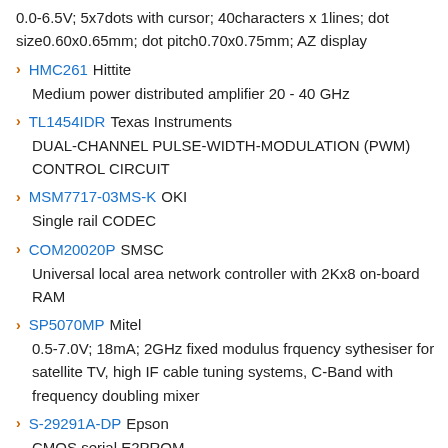0.0-6.5V; 5x7dots with cursor; 40characters x 1lines; dot size0.60x0.65mm; dot pitch0.70x0.75mm; AZ display
HMC261 Hittite
Medium power distributed amplifier 20 - 40 GHz
TL1454IDR Texas Instruments
DUAL-CHANNEL PULSE-WIDTH-MODULATION (PWM) CONTROL CIRCUIT
MSM7717-03MS-K OKI
Single rail CODEC
COM20020P SMSC
Universal local area network controller with 2Kx8 on-board RAM
SP5070MP Mitel
0.5-7.0V; 18mA; 2GHz fixed modulus frquency sythesiser for satellite TV, high IF cable tuning systems, C-Band with frequency doubling mixer
S-29291A-DP Epson
CMOS serial E2PROM